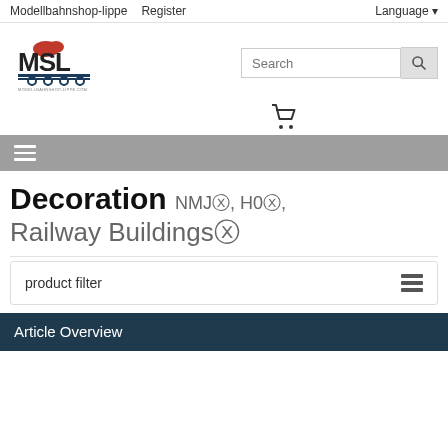Modellbahnshop-lippe   Register   Language
[Figure (logo): MSL Modellbahnshop-lippe logo with red hat and train graphic]
Decoration NMJ®, H0®, Railway Buildings®
product filter
Article Overview